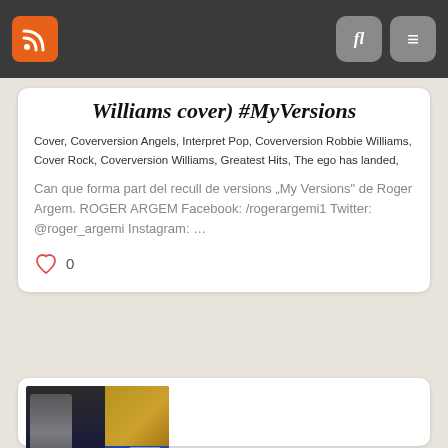Navigation bar with RSS icon, search and menu buttons
Williams cover) #MyVersions
Cover, Coverversion Angels, Interpret Pop, Coverversion Robbie Williams, Cover Rock, Coverversion Williams, Greatest Hits, The ego has landed,
Can que forma part del recull de versions „My Versions" de Roger Argem. ROGER ARGEM Facebook: /rogerargemi1 Twitter: @roger_argemi Instagram: …
0
[Figure (photo): Video thumbnail showing a person performing, with colorful background and a laptop visible]